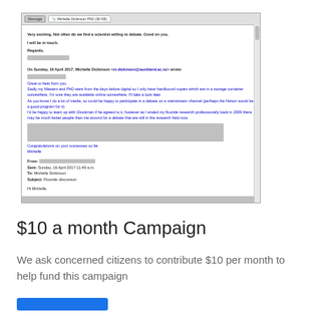[Figure (screenshot): Screenshot of an email thread. Tab bar shows 'Message' and 'Michelle Dickinson PhD (36 KB)' attachment tab. Email content includes: 'Very exciting. Not often do we find a scientist willing to debate. Good on you. I will be in touch. Regards, [redacted]. On Sunday, 16 April 2017, Michelle Dickinson <m.dickinson@auckland.ac.nz> wrote: [redacted] Great to hear from you. Sadly my Masters and PhD were from the days before digital so I only have hardbound copies which are in a storage container somewhere, I'm sure they are available online somewhere, I'll take a look later. As you know I do a lot of media, so could be happy to participate in a debate on a mainstream channel (perhaps the Nation would be a good program for it). I'd be happy to team up with Gluckman if he agreed to it, however as I ended my fluoride research professionally back in 2009 there may be much better people than me around for a debate that are still in the research field now. [redacted block] Congratulations on your successes so far. Michelle From: [redacted] Sent: Sunday, 16 April 2017 11:49 a.m. To: Michelle Dickinson Subject: Fluoride discussion Hi Michelle,']
$10 a month Campaign
We ask concerned citizens to contribute $10 per month to help fund this campaign